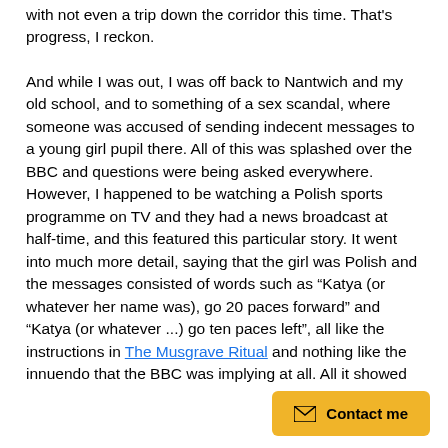with not even a trip down the corridor this time. That's progress, I reckon.
And while I was out, I was off back to Nantwich and my old school, and to something of a sex scandal, where someone was accused of sending indecent messages to a young girl pupil there. All of this was splashed over the BBC and questions were being asked everywhere. However, I happened to be watching a Polish sports programme on TV and they had a news broadcast at half-time, and this featured this particular story. It went into much more detail, saying that the girl was Polish and the messages consisted of words such as “Katya (or whatever her name was), go 20 paces forward” and “Katya (or whatever ...) go ten paces left”, all like the instructions in The Musgrave Ritual and nothing like the innuendo that the BBC was implying at all. All it showed